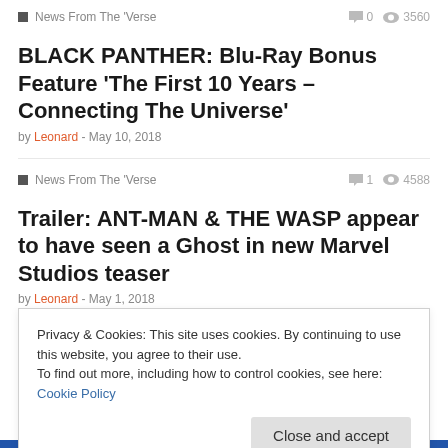News From The 'Verse | 0 | 3560
BLACK PANTHER: Blu-Ray Bonus Feature ‘The First 10 Years – Connecting The Universe’
by Leonard - May 10, 2018
News From The 'Verse | 1 | 4588
Trailer: ANT-MAN & THE WASP appear to have seen a Ghost in new Marvel Studios teaser
by Leonard - May 1, 2018
Con News | 0 | 3925
ICE MARGATE 2018: Kieron Gillen Panel, 14th
Privacy & Cookies: This site uses cookies. By continuing to use this website, you agree to their use.
To find out more, including how to control cookies, see here: Cookie Policy